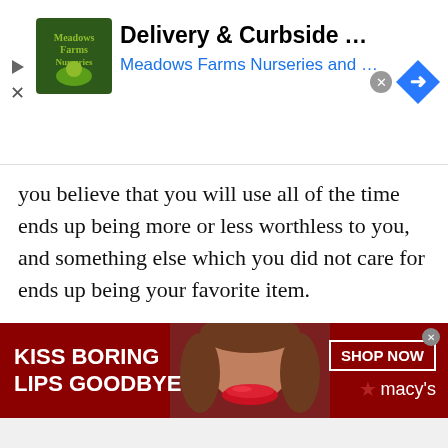[Figure (other): Top advertisement banner for Meadows Farms Nurseries and Landscaping showing logo, 'Delivery & Curbside Available' headline, and blue subtext with play/close icons and a blue diamond directional icon]
you believe that you will use all of the time ends up being more or less worthless to you, and something else which you did not care for ends up being your favorite item.
Conclusion
Our experts have research and try the best shruthi box online you are looking for, then recommend the ones that best suit
[Figure (other): Bottom advertisement banner for Macy's showing 'KISS BORING LIPS GOODBYE' text on dark red background with a woman's face and red lips, 'SHOP NOW' button, and Macy's star logo]